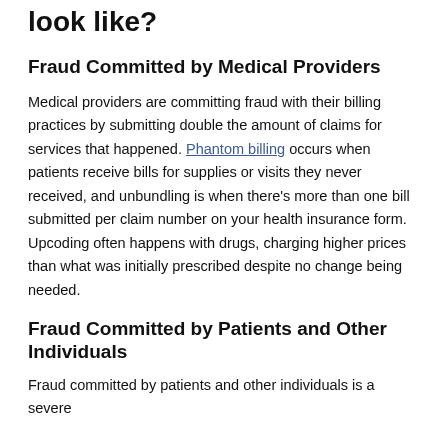look like?
Fraud Committed by Medical Providers
Medical providers are committing fraud with their billing practices by submitting double the amount of claims for services that happened. Phantom billing occurs when patients receive bills for supplies or visits they never received, and unbundling is when there’s more than one bill submitted per claim number on your health insurance form. Upcoding often happens with drugs, charging higher prices than what was initially prescribed despite no change being needed.
Fraud Committed by Patients and Other Individuals
Fraud committed by patients and other individuals is a severe